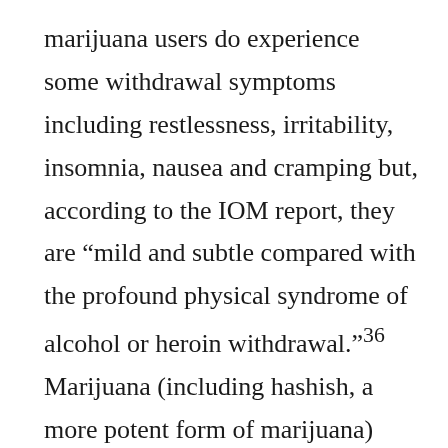marijuana users do experience some withdrawal symptoms including restlessness, irritability, insomnia, nausea and cramping but, according to the IOM report, they are “mild and subtle compared with the profound physical syndrome of alcohol or heroin withdrawal.”36 Marijuana (including hashish, a more potent form of marijuana) also has, at 9 percent, a relatively low percentage of users who have ever become dependent. The comparative rates of other